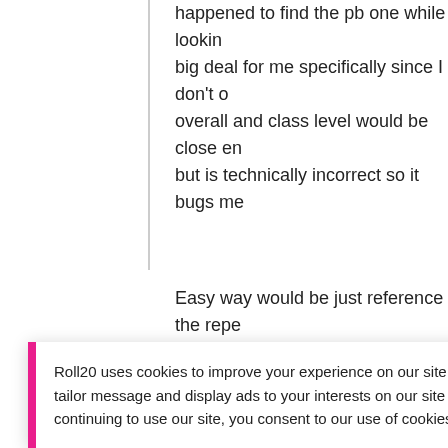happened to find the pb one while looking for it. Not a big deal for me specifically since I don't care and overall and class level would be close enough, but is technically incorrect so it bugs me
Easy way would be just reference the repeating. If the custom class is the first one on the list use
where name is the character name as refere... though with just @{repeating_class_$0_leve...
Roll20 uses cookies to improve your experience on our site. Cookies enable you to enjoy certain features, social sharing functionality, and tailor message and display ads to your interests on our site and others. They also help us understand how our site is being used. By continuing to use our site, you consent to our use of cookies. Update your cookie preferences here.